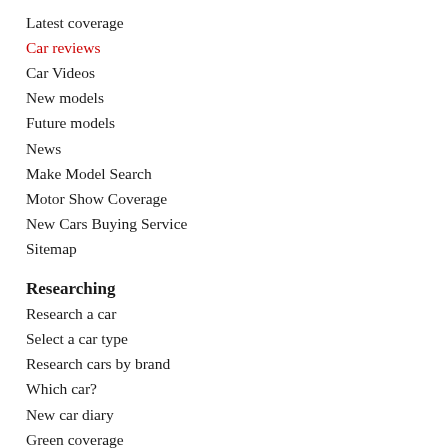Latest coverage
Car reviews
Car Videos
New models
Future models
News
Make Model Search
Motor Show Coverage
New Cars Buying Service
Sitemap
Researching
Research a car
Select a car type
Research cars by brand
Which car?
New car diary
Green coverage
Used car research
General news
VFACTS